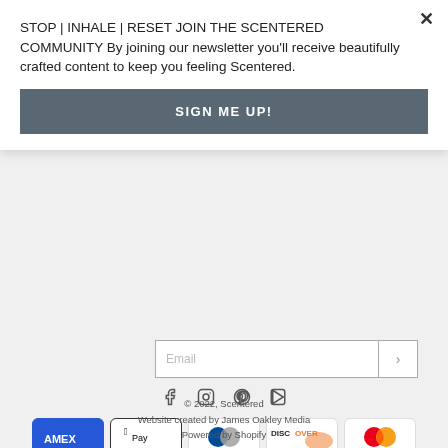STOP | INHALE | RESET JOIN THE SCENTERED COMMUNITY By joining our newsletter you'll receive beautifully crafted content to keep you feeling Scentered.
SIGN ME UP!
Email
[Figure (infographic): Social media icons: Facebook, Instagram, Pinterest, YouTube]
[Figure (infographic): Payment method logos: AMEX, Apple Pay, Diners Club, Discover, Mastercard, PayPal, OPay, Venmo, VISA]
© 2022, Scentered
Website created by James Oakley Media
Powered by Shopify